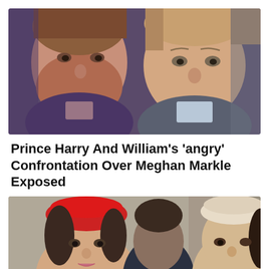[Figure (photo): Prince Harry and Prince William side by side with serious expressions. Harry has red beard, wearing purple; William in grey suit and light blue shirt.]
Prince Harry And William’s ‘angry’ Confrontation Over Meghan Markle Exposed
[Figure (photo): Woman in red beret hat (Kate Middleton) and another woman in cream/beige hat (Meghan Markle) with others in background at a public event.]